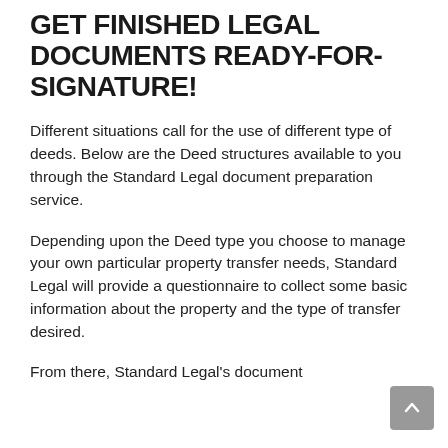GET FINISHED LEGAL DOCUMENTS READY-FOR-SIGNATURE!
Different situations call for the use of different type of deeds. Below are the Deed structures available to you through the Standard Legal document preparation service.
Depending upon the Deed type you choose to manage your own particular property transfer needs, Standard Legal will provide a questionnaire to collect some basic information about the property and the type of transfer desired.
From there, Standard Legal's document